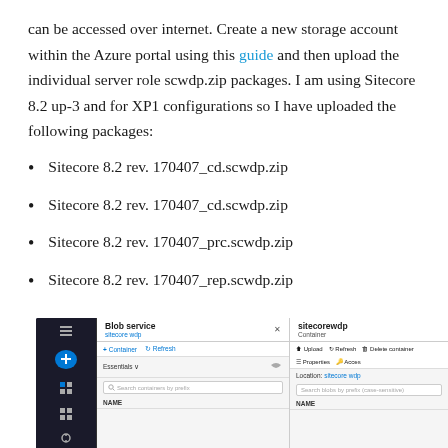can be accessed over internet. Create a new storage account within the Azure portal using this guide and then upload the individual server role scwdp.zip packages. I am using Sitecore 8.2 up-3 and for XP1 configurations so I have uploaded the following packages:
Sitecore 8.2 rev. 170407_cd.scwdp.zip
Sitecore 8.2 rev. 170407_cd.scwdp.zip
Sitecore 8.2 rev. 170407_prc.scwdp.zip
Sitecore 8.2 rev. 170407_rep.scwdp.zip
[Figure (screenshot): Azure portal screenshot showing Blob service panel with sitecorewdp container selected, displaying toolbar options including Upload, Refresh, Delete container, Properties, and Access, with NAME column headers visible in both panels.]